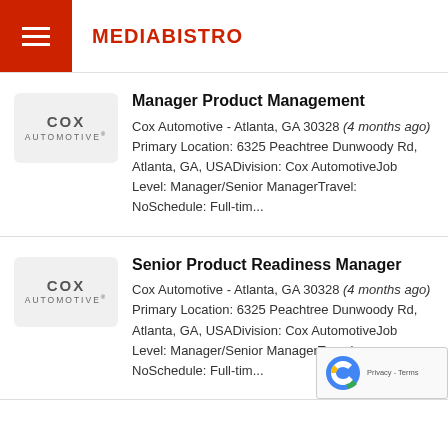MEDIABISTRO
[Figure (logo): Cox Automotive company logo, light gray background]
Manager Product Management
Cox Automotive - Atlanta, GA 30328 (4 months ago)
Primary Location: 6325 Peachtree Dunwoody Rd, Atlanta, GA, USADivision: Cox AutomotiveJob Level: Manager/Senior ManagerTravel: NoSchedule: Full-tim...
[Figure (logo): Cox Automotive company logo, light gray background]
Senior Product Readiness Manager
Cox Automotive - Atlanta, GA 30328 (4 months ago)
Primary Location: 6325 Peachtree Dunwoody Rd, Atlanta, GA, USADivision: Cox AutomotiveJob Level: Manager/Senior ManagerTravel: NoSchedule: Full-tim...